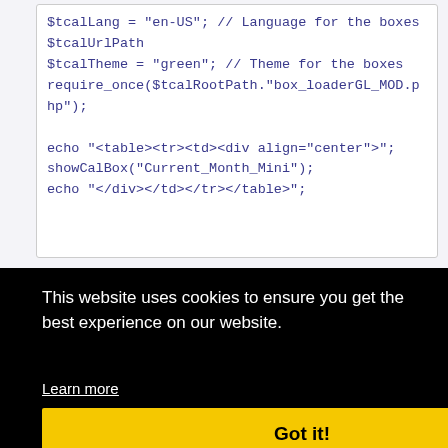[Figure (screenshot): Code snippet showing PHP variables and echo statements in a white code box with dark blue monospace text]
This website uses cookies to ensure you get the best experience on our website.
Learn more
Got it!
Status: offline